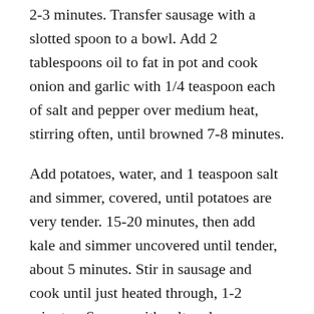2-3 minutes. Transfer sausage with a slotted spoon to a bowl. Add 2 tablespoons oil to fat in pot and cook onion and garlic with 1/4 teaspoon each of salt and pepper over medium heat, stirring often, until browned 7-8 minutes.
Add potatoes, water, and 1 teaspoon salt and simmer, covered, until potatoes are very tender. 15-20 minutes, then add kale and simmer uncovered until tender, about 5 minutes. Stir in sausage and cook until just heated through, 1-2 minutes. Season with salt and pepper.
~ooOOoo~
I love chatting recipes, cuisine and dining. Like to share